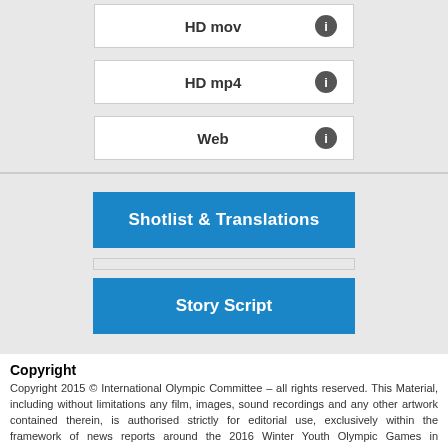HD mov
HD mp4
Web
Shotlist & Translations
Story Script
Copyright
Copyright 2015 © International Olympic Committee – all rights reserved. This Material, including without limitations any film, images, sound recordings and any other artwork contained therein, is authorised strictly for editorial use, exclusively within the framework of news reports around the 2016 Winter Youth Olympic Games in Lillehammer. Such authorisation shall be non-exclusive, non-transferable and revocable and it shall terminate on 1 March 2016. All other rights are reserved. The use of any such Material for any promotion, advertisement or other commercial purposes is strictly prohibited. Any unauthorised use of this Material, in whole or in parts, including but not limited to